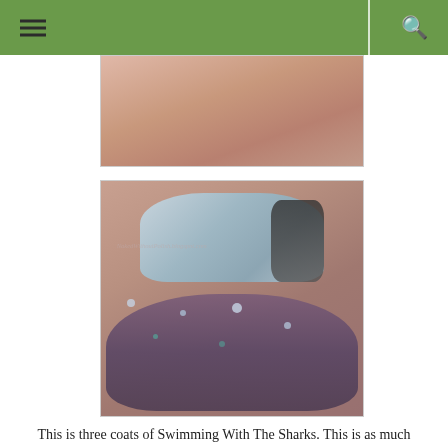Navigation menu and search icons on green header bar
[Figure (photo): Partial close-up photo of a hand holding a nail polish bottle, cropped at top]
[Figure (photo): Close-up photo of a hand holding a glitter nail polish bottle, with fingernails painted with multi-colored glitter polish (Swimming With The Sharks). Watermark text reads NakedWithoutPolish.blogspot.com]
This is three coats of Swimming With The Sharks. This is as much coverage as I would want with this polish. You get to see the different glitters still. When there are several